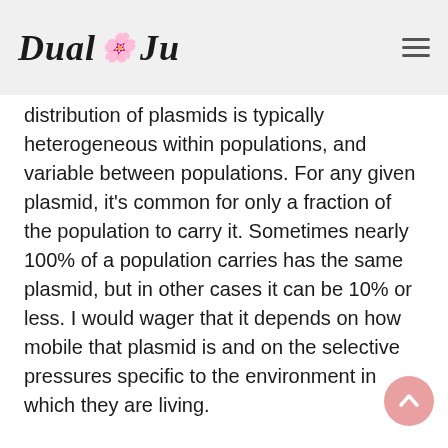Dual Ju
distribution of plasmids is typically heterogeneous within populations, and variable between populations. For any given plasmid, it's common for only a fraction of the population to carry it. Sometimes nearly 100% of a population carries has the same plasmid, but in other cases it can be 10% or less. I would wager that it depends on how mobile that plasmid is and on the selective pressures specific to the environment in which they are living.
I have personally observed this heterogeneity even in laboratory strains under antibiotic selection. I once determined that less than 20% of my E.